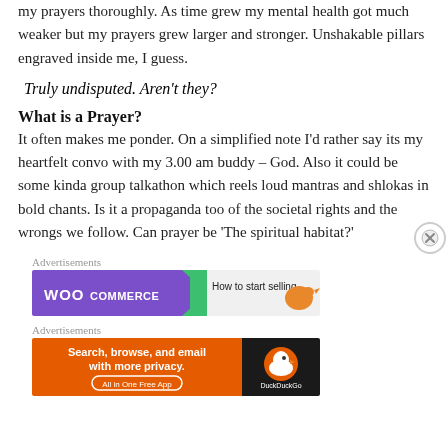my prayers thoroughly. As time grew my mental health got much weaker but my prayers grew larger and stronger. Unshakable pillars engraved inside me, I guess.
Truly undisputed. Aren't they?
What is a Prayer?
It often makes me ponder. On a simplified note I'd rather say its my heartfelt convo with my 3.00 am buddy – God. Also it could be some kinda group talkathon which reels loud mantras and shlokas in bold chants. Is it a propaganda too of the societal rights and the wrongs we follow. Can prayer be 'The spiritual habitat?'
Advertisements
[Figure (screenshot): WooCommerce advertisement banner: purple background with WooCommerce logo and green arrow shape, text 'How to start selling' with orange bird icon]
Advertisements
[Figure (screenshot): DuckDuckGo advertisement: orange left panel with text 'Search, browse, and email with more privacy. All in One Free App', dark right panel with DuckDuckGo duck logo]